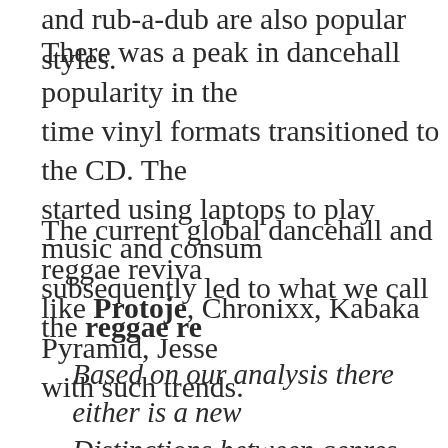and rub-a-dub are also popular styles.
There was a peak in dancehall popularity in the time vinyl formats transitioned to the CD. The started using laptops to play music and consun subsequently led to what we call the reggae re
The current global dancehall and reggae reviva like Protoje, Chronixx, Kabaka Pyramid, Jesse with such trends.
Based on our analysis there either is a new Distinctions between genres have become embracing that change.
READ MORE: https://reggaelover.com/
Advertisements